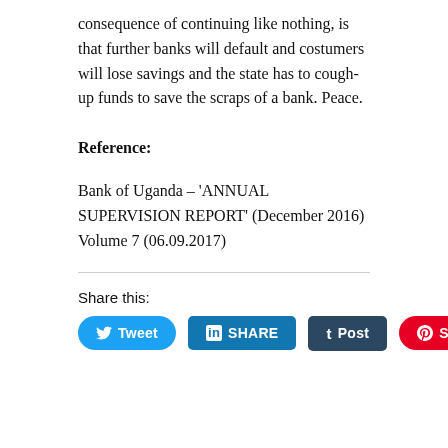consequence of continuing like nothing, is that further banks will default and costumers will lose savings and the state has to cough-up funds to save the scraps of a bank. Peace.
Reference:
Bank of Uganda – ‘ANNUAL SUPERVISION REPORT’ (December 2016) Volume 7 (06.09.2017)
Share this:
[Figure (other): Social share buttons: Tweet (Twitter), SHARE (LinkedIn), Post (Tumblr), Save (Pinterest)]